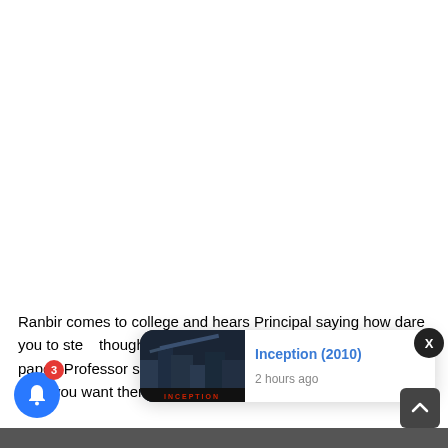[Figure (screenshot): A blank white area representing the top portion of a webpage screenshot]
Ranbir comes to college and hears Principal saying how dare you to ste thought and th s in his cal tealing the question paper. Professor says I stole it my tutorial students. Principal says you want them to g
[Figure (screenshot): Notification popup showing Inception (2010) movie poster thumbnail with title in blue and timestamp '2 hours ago']